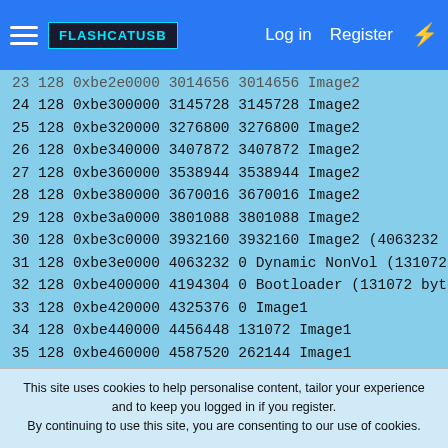FLASHCATUSB | Log in | Register
23 128 0xbe2e0000 3014656 3014656 Image2
24 128 0xbe300000 3145728 3145728 Image2
25 128 0xbe320000 3276800 3276800 Image2
26 128 0xbe340000 3407872 3407872 Image2
27 128 0xbe360000 3538944 3538944 Image2
28 128 0xbe380000 3670016 3670016 Image2
29 128 0xbe3a0000 3801088 3801088 Image2
30 128 0xbe3c0000 3932160 3932160 Image2 (4063232 bytes)
31 128 0xbe3e0000 4063232 0 Dynamic NonVol (131072 bytes)
32 128 0xbe400000 4194304 0 Bootloader (131072 bytes)
33 128 0xbe420000 4325376 0 Image1
34 128 0xbe440000 4456448 131072 Image1
35 128 0xbe460000 4587520 262144 Image1
36 128 0xbe480000 4718592 393216 Image1
37 128 0xbe4a0000 4849664 524288 Image1
This site uses cookies to help personalise content, tailor your experience and to keep you logged in if you register.
By continuing to use this site, you are consenting to our use of cookies.